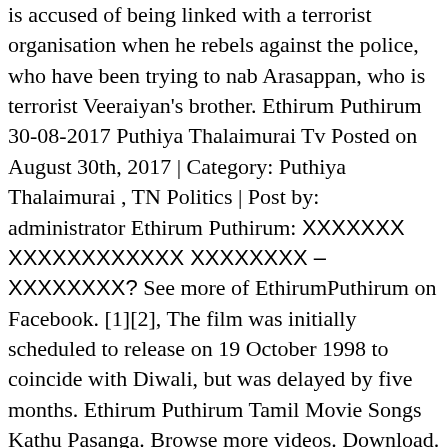is accused of being linked with a terrorist organisation when he rebels against the police, who have been trying to nab Arasappan, who is terrorist Veeraiyan's brother. Ethirum Puthirum 30-08-2017 Puthiya Thalaimurai Tv Posted on August 30th, 2017 | Category: Puthiya Thalaimurai , TN Politics | Post by: administrator Ethirum Puthirum: [Tamil text] See more of EthirumPuthirum on Facebook. [1][2], The film was initially scheduled to release on 19 October 1998 to coincide with Diwali, but was delayed by five months. Ethirum Puthirum Tamil Movie Songs Kathu Pasanga. Browse more videos. Download. 5:24. EthirumPuthirum. Ethirum Puthirum is a Tamil album released on Mar 1999. Listen to your favorite songs from Ethirum Puthirum (Original Motion Picture Soundtrack) by